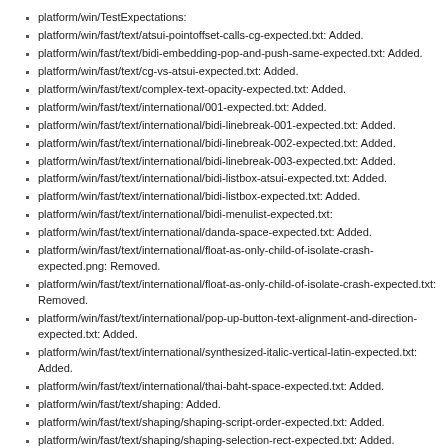platform/win/TestExpectations:
platform/win/fast/text/atsui-pointoffset-calls-cg-expected.txt: Added.
platform/win/fast/text/bidi-embedding-pop-and-push-same-expected.txt: Added.
platform/win/fast/text/cg-vs-atsui-expected.txt: Added.
platform/win/fast/text/complex-text-opacity-expected.txt: Added.
platform/win/fast/text/international/001-expected.txt: Added.
platform/win/fast/text/international/bidi-linebreak-001-expected.txt: Added.
platform/win/fast/text/international/bidi-linebreak-002-expected.txt: Added.
platform/win/fast/text/international/bidi-linebreak-003-expected.txt: Added.
platform/win/fast/text/international/bidi-listbox-atsui-expected.txt: Added.
platform/win/fast/text/international/bidi-listbox-expected.txt: Added.
platform/win/fast/text/international/bidi-menulist-expected.txt:
platform/win/fast/text/international/danda-space-expected.txt: Added.
platform/win/fast/text/international/float-as-only-child-of-isolate-crash-expected.png: Removed.
platform/win/fast/text/international/float-as-only-child-of-isolate-crash-expected.txt: Removed.
platform/win/fast/text/international/pop-up-button-text-alignment-and-direction-expected.txt: Added.
platform/win/fast/text/international/synthesized-italic-vertical-latin-expected.txt: Added.
platform/win/fast/text/international/thai-baht-space-expected.txt: Added.
platform/win/fast/text/shaping: Added.
platform/win/fast/text/shaping/shaping-script-order-expected.txt: Added.
platform/win/fast/text/shaping/shaping-selection-rect-expected.txt: Added.